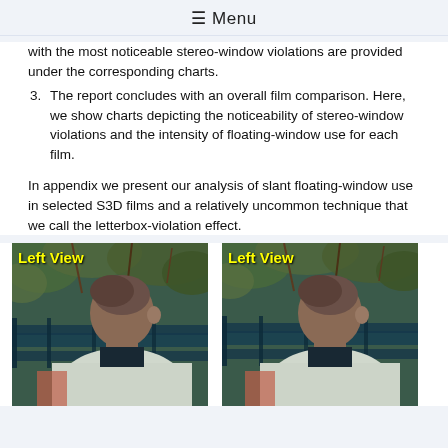≡ Menu
with the most noticeable stereo-window violations are provided under the corresponding charts.
3. The report concludes with an overall film comparison. Here, we show charts depicting the noticeability of stereo-window violations and the intensity of floating-window use for each film.
In appendix we present our analysis of slant floating-window use in selected S3D films and a relatively uncommon technique that we call the letterbox-violation effect.
[Figure (photo): Left view of a person seen from behind, outdoors, with foliage and fence in background. Yellow 'Left View' label in top-left corner.]
[Figure (photo): Left view of a person seen from behind, outdoors, with foliage and fence in background. Yellow 'Left View' label in top-left corner. Slightly different stereo perspective.]